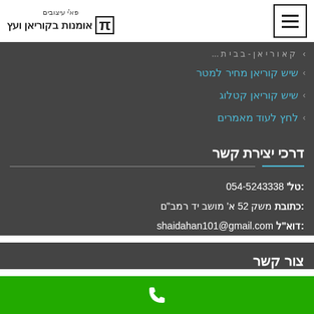פא'י עיצובים - אומנות בקוריאן ועץ
שיש קוריאן מחיר למטר
שיש קוריאן קטלוג
לחץ לעוד מאמרים
דרכי יצירת קשר
טל': 054-5243338
כתובת: משק 52 א' מושב יד רמב"ם
דוא"ל: shaidahan101@gmail.com
צור קשר